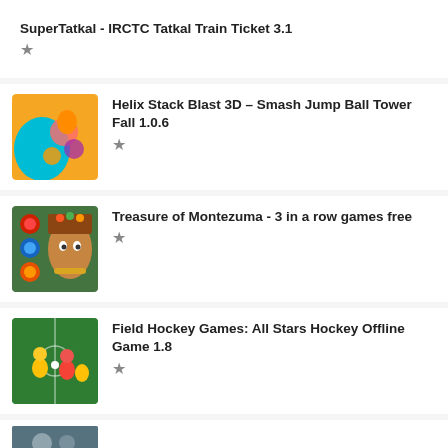SuperTatkal - IRCTC Tatkal Train Ticket 3.1 ★
[Figure (screenshot): App icon for Helix Stack Blast 3D – colorful 3D balls game icon with blue and orange]
Helix Stack Blast 3D – Smash Jump Ball Tower Fall 1.0.6 ★
[Figure (screenshot): App icon for Treasure of Montezuma showing a woman with headdress and jewel coins]
Treasure of Montezuma - 3 in a row games free ★
[Figure (screenshot): App icon for Field Hockey Games showing players on a green field]
Field Hockey Games: All Stars Hockey Offline Game 1.8 ★
[Figure (screenshot): Partially visible app icon at bottom of page]